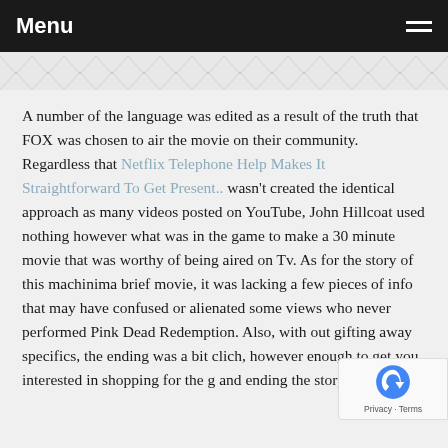Menu
A number of the language was edited as a result of the truth that FOX was chosen to air the movie on their community. Regardless that Netflix Telephone Help Makes It Straightforward To Get Present.. wasn't created the identical approach as many videos posted on YouTube, John Hillcoat used nothing however what was in the game to make a 30 minute movie that was worthy of being aired on Tv. As for the story of this machinima brief movie, it was lacking a few pieces of info that may have confused or alienated some views who never performed Pink Dead Redemption. Also, with out gifting away specifics, the ending was a bit clich, however enough to get you interested in shopping for the g and ending the story.